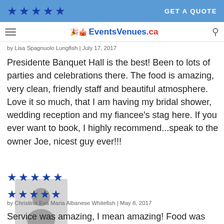★★★★★  GET A QUOTE
EventsVenues.ca
by Lisa Spagnuolo Lungfish | July 17, 2017
Presidente Banquet Hall is the best! Been to lots of parties and celebrations there. The food is amazing, very clean, friendly staff and beautiful atmosphere. Love it so much, that I am having my bridal shower, wedding reception and my fiancee's stag here. If you ever want to book, I highly recommend...speak to the owner Joe, nicest guy ever!!!
[Figure (photo): Default user silhouette avatar placeholder image]
★★★★★
by Christina Eva Maria Albanese Whitefish | May 8, 2017
Service was amazing, I mean amazing! Food was good except for the prize piece which was the veal chop that was so dry and tough... passed on that- but only because I couldn't cut into it- I had to tear at it- and it was very